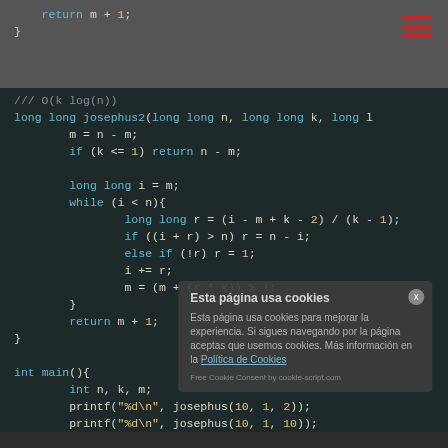[Figure (screenshot): Code editor screenshot showing C++ code for josephus2 function and main function with dark theme]
Esta página usa cookies
Esta página usa cookies para mejorar la experiencia. Si sigues navegando por la página aceptas que usemos cookies. Más información en la Política de Cookies
Free Cookie Consent by cookie-script.com